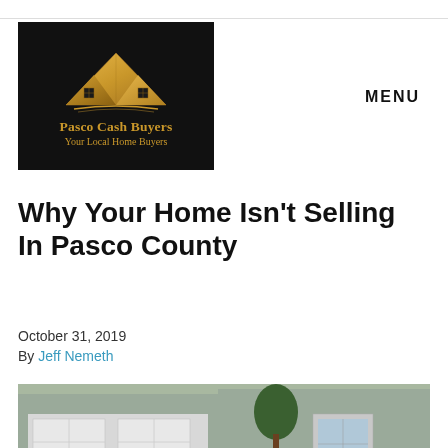[Figure (logo): Pasco Cash Buyers logo: dark background with gold mountain/house roof graphic, text 'Pasco Cash Buyers Your Local Home Buyers']
MENU
Why Your Home Isn't Selling In Pasco County
October 31, 2019
By Jeff Nemeth
[Figure (photo): Photo of a house exterior with garage, wood stairs, and multiple red 'For Sale' signs in the yard]